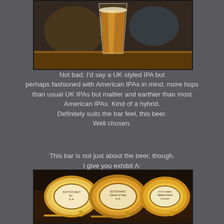[Figure (photo): A tall pint glass of golden IPA beer on a bar counter, slightly blurred background]
Not bad. I'd say a UK styled IPA but perhaps fashioned with American IPAs in mind. more hops than usual UK IPAs but maltier and earthier than most American IPAs. Kind of a hybrid. Definitely suits the bar feel, this beer. Well chosen.
This bar is not just about the beer, though. I give you exhibit A: I decided to try all of them (of course).
[Figure (photo): Several whisky/beer barrels or casks on display at a bar, with golden taps and circular labels]